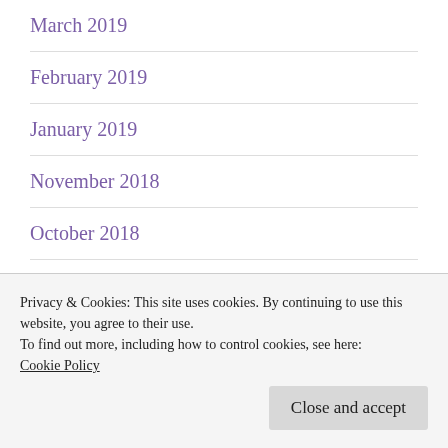March 2019
February 2019
January 2019
November 2018
October 2018
September 2018
August 2018
May 2018
Privacy & Cookies: This site uses cookies. By continuing to use this website, you agree to their use.
To find out more, including how to control cookies, see here:
Cookie Policy
Close and accept